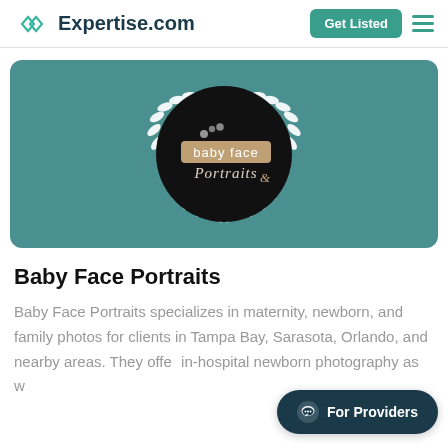Expertise.com
[Figure (logo): Baby Face Portraits logo: black circle with laurel wreath, text 'baby face Portraits' on teal/beige background]
Baby Face Portraits
Baby Face Portraits specializes in maternity, newborn, and family photos for clients in Tampa Bay, Sarasota, Orlando, and nearby areas. They offer in-hospital newborn photography as w...